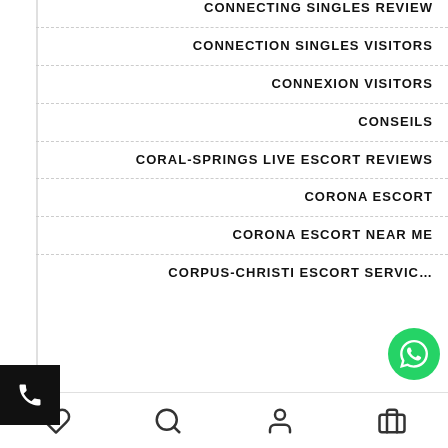CONNECTING SINGLES REVIEW
CONNECTION SINGLES VISITORS
CONNEXION VISITORS
CONSEILS
CORAL-SPRINGS LIVE ESCORT REVIEWS
CORONA ESCORT
CORONA ESCORT NEAR ME
CORPUS-CHRISTI ESCORT SERVICE
[Figure (other): Phone call button widget - black square with white phone icon]
[Figure (other): WhatsApp chat button - green circle with white WhatsApp icon]
[Figure (other): Bottom navigation bar with heart, search, profile, and shop icons]